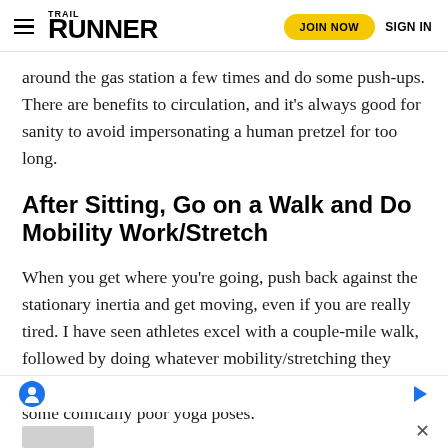TRAIL RUNNER — JOIN NOW | SIGN IN
around the gas station a few times and do some push-ups. There are benefits to circulation, and it's always good for sanity to avoid impersonating a human pretzel for too long.
After Sitting, Go on a Walk and Do Mobility Work/Stretch
When you get where you're going, push back against the stationary inertia and get moving, even if you are really tired. I have seen athletes excel with a couple-mile walk, followed by doing whatever mobility/stretching they usually enjoy. For me, that means a walk followed by some comically poor yoga poses.